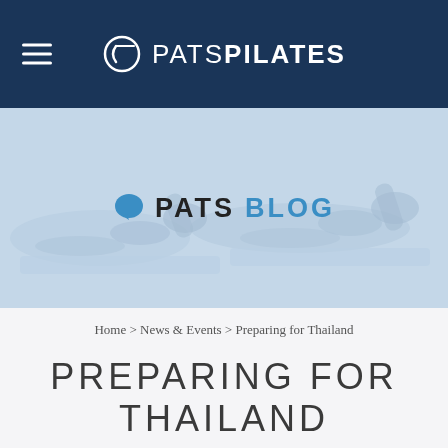PATS PILATES
[Figure (photo): Pilates blog hero banner showing people doing pilates bridge exercise on mats, with PATS BLOG text overlay]
Home > News & Events > Preparing for Thailand
PREPARING FOR THAILAND